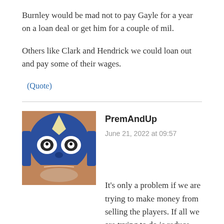Burnley would be mad not to pay Gayle for a year on a loan deal or get him for a couple of mil.
Others like Clark and Hendrick we could loan out and pay some of their wages.
(Quote)
PremAndUp
June 21, 2022 at 09:57
It’s only a problem if we are trying to make money from selling the players. If all we are trying to do is reduce the number of players on the books, and massage